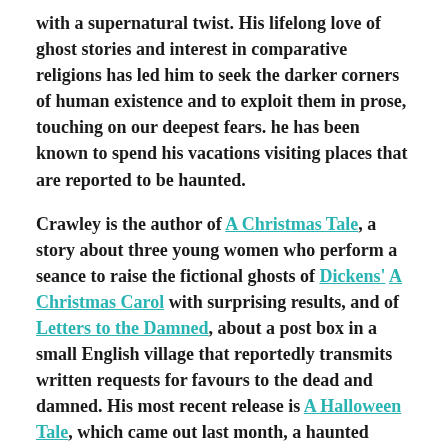with a supernatural twist. His lifelong love of ghost stories and interest in comparative religions has led him to seek the darker corners of human existence and to exploit them in prose, touching on our deepest fears. he has been known to spend his vacations visiting places that are reported to be haunted.
Crawley is the author of A Christmas Tale, a story about three young women who perform a seance to raise the fictional ghosts of Dickens' A Christmas Carol with surprising results, and of Letters to the Damned, about a post box in a small English village that reportedly transmits written requests for favours to the dead and damned. His most recent release is A Halloween Tale, which came out last month, a haunted house tale filled with horrific, inter-dimensional terror.